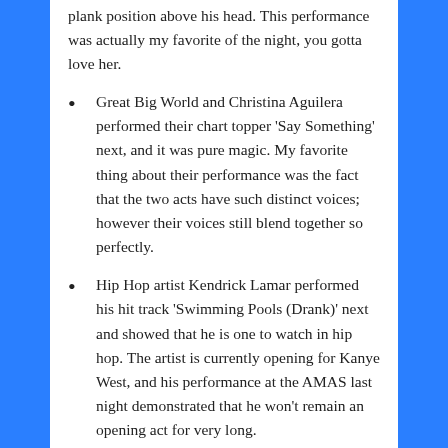plank position above his head. This performance was actually my favorite of the night, you gotta love her.
Great Big World and Christina Aguilera performed their chart topper ‘Say Something’ next, and it was pure magic. My favorite thing about their performance was the fact that the two acts have such distinct voices; however their voices still blend together so perfectly.
Hip Hop artist Kendrick Lamar performed his hit track ‘Swimming Pools (Drank)’ next and showed that he is one to watch in hip hop. The artist is currently opening for Kanye West, and his performance at the AMAS last night demonstrated that he won’t remain an opening act for very long.
Country superstar Luke Bryan performed his